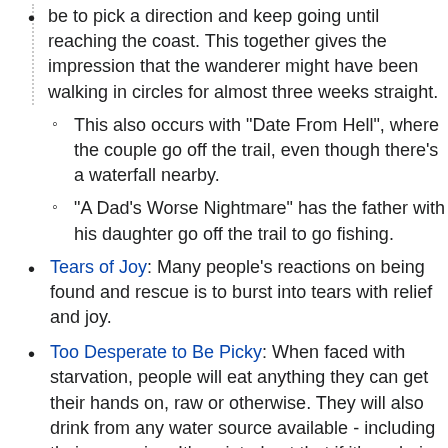be to pick a direction and keep going until reaching the coast. This together gives the impression that the wanderer might have been walking in circles for almost three weeks straight.
This also occurs with "Date From Hell", where the couple go off the trail, even though there's a waterfall nearby.
"A Dad's Worse Nightmare" has the father with his daughter go off the trail to go fishing.
Tears of Joy: Many people's reactions on being found and rescue is to burst into tears with relief and joy.
Too Desperate to Be Picky: When faced with starvation, people will eat anything they can get their hands on, raw or otherwise. They will also drink from any water source available - including their own urine. It's pointed out that if it's a choice between drinking dirty water or not at all, you'll have a better chance of surviving if you do.
Turn of the Millennium: A good portion of the stories take